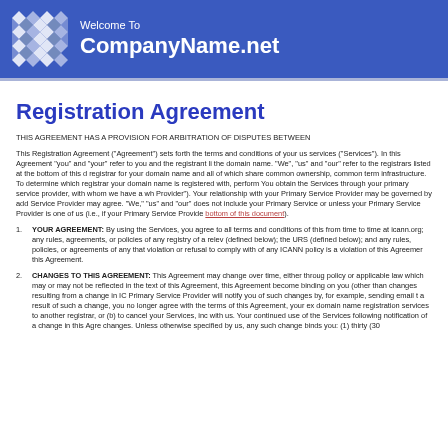Welcome To CompanyName.net
Registration Agreement
THIS AGREEMENT HAS A PROVISION FOR ARBITRATION OF DISPUTES BETWEEN
This Registration Agreement ("Agreement") sets forth the terms and conditions of your us services ("Services"). In this Agreement "you" and "your" refer to you and the registrant li the domain name. "We", "us" and "our" refer to the registrars listed at the bottom of this d registrar for your domain name and all of which share common ownership, common term infrastructure. To determine which registrar your domain name is registered with, perform You obtain the Services through your primary service provider, with whom we have a wh Provider"). Your relationship with your Primary Service Provider may be governed by add Service Provider may agree. "We," "us" and "our" does not include your Primary Service or unless your Primary Service Provider is one of us (i.e., if your Primary Service Provid bottom of this document).
YOUR AGREEMENT: By using the Services, you agree to all terms and conditions of this from time to time at icann.org; any rules, agreements, or policies of any registry of a relev (defined below); the URS (defined below); and any rules, policies, or agreements of any that violation or refusal to comply with of any ICANN policy is a violation of this Agreemer this Agreement.
CHANGES TO THIS AGREEMENT: This Agreement may change over time, either throug policy or applicable law which may or may not be reflected in the text of this Agreement, this Agreement become binding on you (other than changes resulting from a change in IC Primary Service Provider will notify you of such changes by, for example, sending email t a result of such a change, you no longer agree with the terms of this Agreement, your ex domain name registration services to another registrar, or (b) to cancel your Services, inc with us. Your continued use of the Services following notification of a change in this Agre changes. Unless otherwise specified by us, any such change binds you: (1) thirty (30